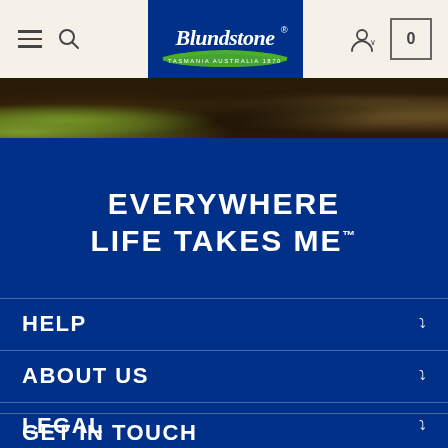[Figure (screenshot): Blundstone website header navigation bar with hamburger menu, search icon, Blundstone logo in blue center box, account icon, and cart showing 0]
[Figure (photo): Outdoor nature scene strip showing grass and earth tones]
EVERYWHERE LIFE TAKES ME™
HELP
ABOUT US
LEGAL
GET IN TOUCH